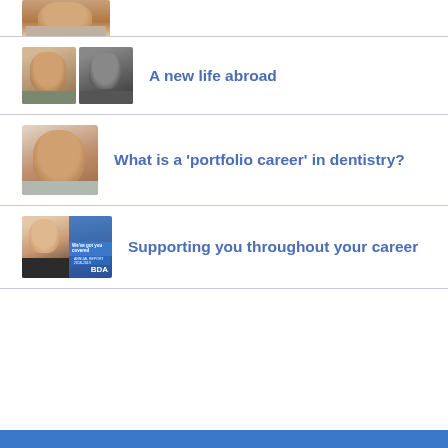[Figure (photo): Portrait photo of a man in a suit, partially cropped at top]
[Figure (photo): Two side-by-side portrait photos of two men]
A new life abroad
[Figure (photo): Portrait photo of a smiling man in a suit]
What is a 'portfolio career' in dentistry?
[Figure (photo): Photo of a person in scrubs next to a BDA annual report book cover]
Supporting you throughout your career
[Figure (photo): Partial blue BDA banner at bottom of page]